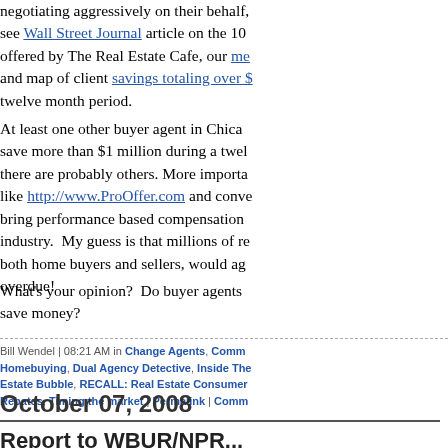negotiating aggressively on their behalf, see Wall Street Journal article on the 10 offered by The Real Estate Cafe, our me and map of client savings totaling over $ twelve month period.
At least one other buyer agent in Chicago save more than $1 million during a twel there are probably others. More importa like http://www.ProOffer.com and conve bring performance based compensation industry. My guess is that millions of re both home buyers and sellers, would ag overdue!
What's your opinion? Do buyer agents save money?
Bill Wendel | 08:21 AM in Change Agents, Comm Homebuying, Dual Agency Detective, Inside The Estate Bubble, RECALL: Real Estate Consumer Rebates, Timing the market | Permalink | Comm
October 07, 2008
Report to WBUR/NPR...